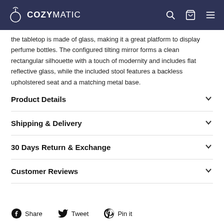COZYMATIC
the tabletop is made of glass, making it a great platform to display perfume bottles. The configured tilting mirror forms a clean rectangular silhouette with a touch of modernity and includes flat reflective glass, while the included stool features a backless upholstered seat and a matching metal base.
Product Details
Shipping & Delivery
30 Days Return & Exchange
Customer Reviews